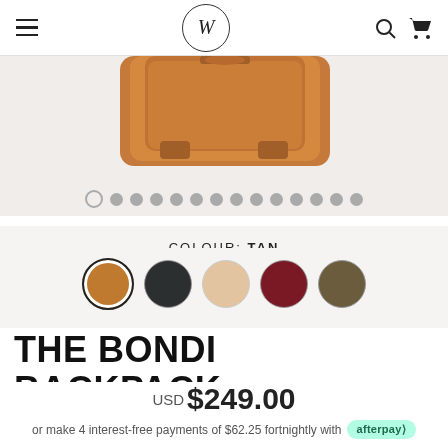W (logo) — hamburger menu, search, cart icons
[Figure (photo): Partial view of a tan leather backpack against a light background with image carousel dots below]
COLOUR: TAN
[Figure (illustration): Five circular color swatches: tan (selected), black, sand/nude, burgundy, khaki/dark brown]
THE BONDI BACKPACK
USD $249.00
or make 4 interest-free payments of $62.25 fortnightly with afterpay>